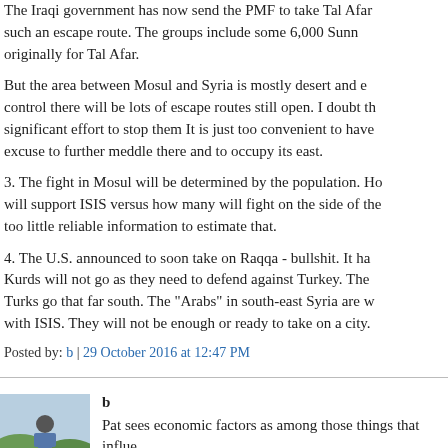The Iraqi government has now send the PMF to take Tal Afar such an escape route. The groups include some 6,000 Sunnis originally for Tal Afar.
But the area between Mosul and Syria is mostly desert and easy to control there will be lots of escape routes still open. I doubt th significant effort to stop them It is just too convenient to have excuse to further meddle there and to occupy its east.
3. The fight in Mosul will be determined by the population. Ho will support ISIS versus how many will fight on the side of the too little reliable information to estimate that.
4. The U.S. announced to soon take on Raqqa - bullshit. It ha Kurds will not go as they need to defend against Turkey. The Turks go that far south. The "Arabs" in south-east Syria are w with ISIS. They will not be enough or ready to take on a city.
Posted by: b | 29 October 2016 at 12:47 PM
b
Pat sees economic factors as among those things that influe
Posted by: turcopolier | 29 October 2016 at 02:01 PM